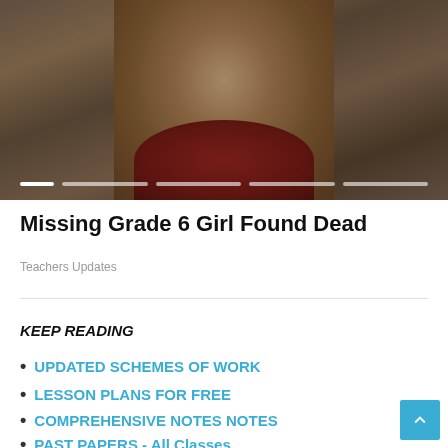[Figure (photo): A photo of a young person with dreadlocks wearing a red top, shown in a slideshow carousel with progress indicators at the bottom]
Missing Grade 6 Girl Found Dead
Teachers Updates
KEEP READING
UPDATED SCHEMES OF WORK
LESSON PLANS FOR FREE
COMPREHENSIVE NOTES NOTES
PAST PAPERS - All Classes